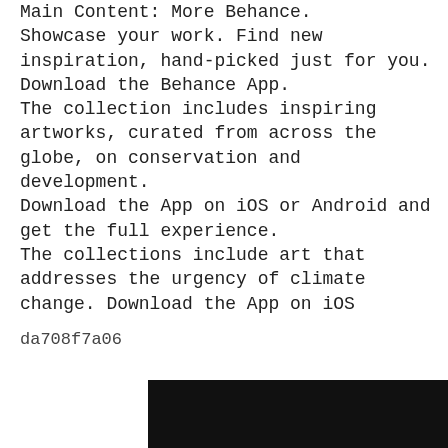Main Content: More Behance. Showcase your work. Find new inspiration, hand-picked just for you. Download the Behance App. The collection includes inspiring artworks, curated from across the globe, on conservation and development. Download the App on iOS or Android and get the full experience. The collections include art that addresses the urgency of climate change. Download the App on iOS
da708f7a06
[Figure (other): Black bar at the bottom of the page, partially visible, appears to be a screenshot or app interface footer.]